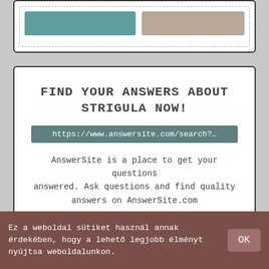[Figure (screenshot): Top partial card with two colored rectangles (teal and tan) inside a dashed border]
FIND YOUR ANSWERS ABOUT STRIGULA NOW!
https://www.answersite.com/search?…
AnswerSite is a place to get your questions answered. Ask questions and find quality answers on AnswerSite.com
ONLINE
[Figure (screenshot): Bottom partial card with teal box (eye icon) and tan box (export icon)]
Ez a weboldal sütiket használ annak érdekében, hogy a lehető legjobb élményt nyújtsa weboldalunkon.
OK